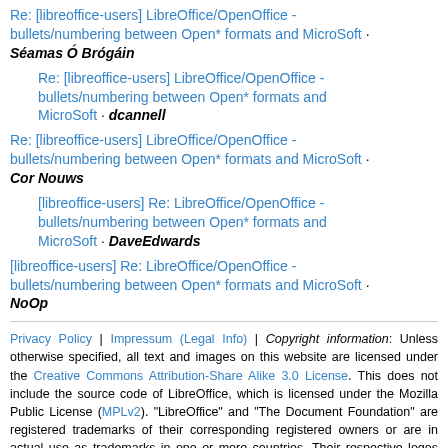Re: [libreoffice-users] LibreOffice/OpenOffice - bullets/numbering between Open* formats and MicroSoft · Séamas Ó Brógáin
Re: [libreoffice-users] LibreOffice/OpenOffice - bullets/numbering between Open* formats and MicroSoft · dcannell
Re: [libreoffice-users] LibreOffice/OpenOffice - bullets/numbering between Open* formats and MicroSoft · Cor Nouws
[libreoffice-users] Re: LibreOffice/OpenOffice - bullets/numbering between Open* formats and MicroSoft · DaveEdwards
[libreoffice-users] Re: LibreOffice/OpenOffice - bullets/numbering between Open* formats and MicroSoft · NoOp
Privacy Policy | Impressum (Legal Info) | Copyright information: Unless otherwise specified, all text and images on this website are licensed under the Creative Commons Attribution-Share Alike 3.0 License. This does not include the source code of LibreOffice, which is licensed under the Mozilla Public License (MPLv2). "LibreOffice" and "The Document Foundation" are registered trademarks of their corresponding registered owners or are in actual use as trademarks in one or more countries. Their respective logos and icons are also subject to international copyright laws. Use thereof is explained in our trademark policy.